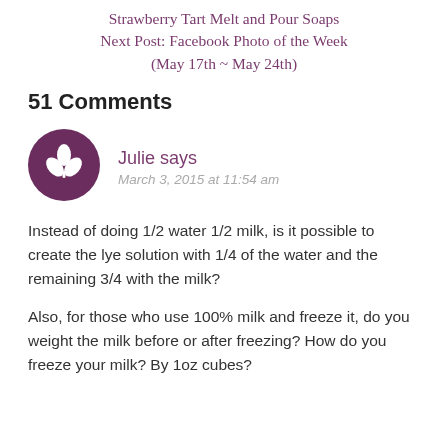Strawberry Tart Melt and Pour Soaps
Next Post: Facebook Photo of the Week (May 17th ~ May 24th)
51 Comments
Julie says
March 3, 2015 at 11:54 am
Instead of doing 1/2 water 1/2 milk, is it possible to create the lye solution with 1/4 of the water and the remaining 3/4 with the milk?
Also, for those who use 100% milk and freeze it, do you weight the milk before or after freezing? How do you freeze your milk? By 1oz cubes?